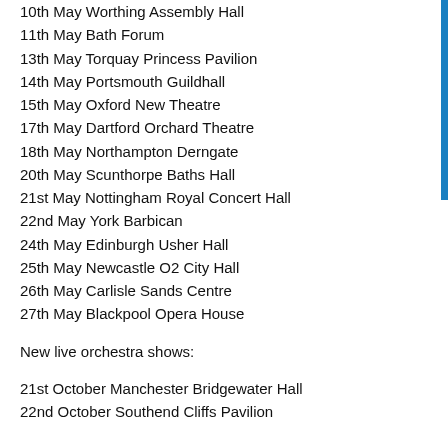10th May Worthing Assembly Hall
11th May Bath Forum
13th May Torquay Princess Pavilion
14th May Portsmouth Guildhall
15th May Oxford New Theatre
17th May Dartford Orchard Theatre
18th May Northampton Derngate
20th May Scunthorpe Baths Hall
21st May Nottingham Royal Concert Hall
22nd May York Barbican
24th May Edinburgh Usher Hall
25th May Newcastle O2 City Hall
26th May Carlisle Sands Centre
27th May Blackpool Opera House
New live orchestra shows:
21st October Manchester Bridgewater Hall
22nd October Southend Cliffs Pavilion